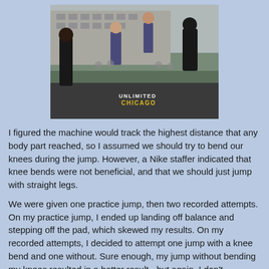[Figure (photo): Outdoor group fitness event with people jumping rope. Shows participants mid-jump at an urban location with a building in the background. Nike 'Unlimited Chicago' logo/watermark visible in lower center of image.]
I figured the machine would track the highest distance that any body part reached, so I assumed we should try to bend our knees during the jump. However, a Nike staffer indicated that knee bends were not beneficial, and that we should just jump with straight legs.
We were given one practice jump, then two recorded attempts. On my practice jump, I ended up landing off balance and stepping off the pad, which skewed my results. On my recorded attempts, I decided to attempt one jump with a knee bend and one without. Sure enough, my jump without bending my knees resulted in a better result - but again, I don't remember my exact results here.